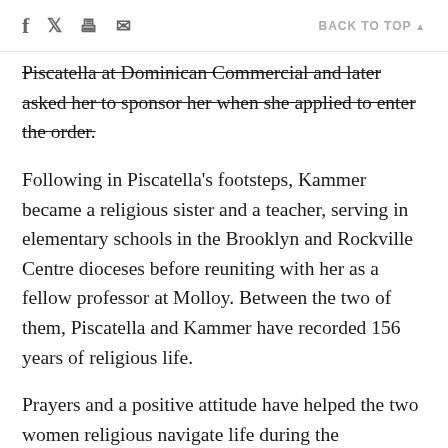f  🐦  🖨  ✉   BACK TO TOP ▲
Piscatella at Dominican Commercial and later asked her to sponsor her when she applied to enter the order.
Following in Piscatella's footsteps, Kammer became a religious sister and a teacher, serving in elementary schools in the Brooklyn and Rockville Centre dioceses before reuniting with her as a fellow professor at Molloy. Between the two of them, Piscatella and Kammer have recorded 156 years of religious life.
Prayers and a positive attitude have helped the two women religious navigate life during the coronavirus pandemic.
The two of them have...